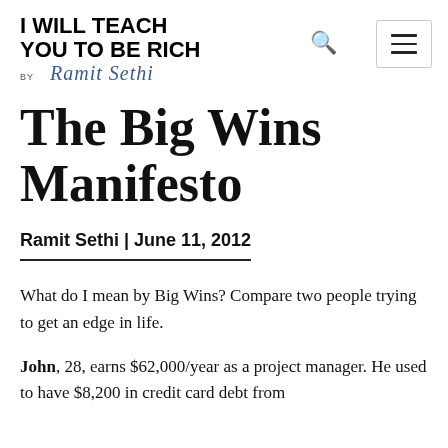I WILL TEACH YOU TO BE RICH by Ramit Sethi
The Big Wins Manifesto
Ramit Sethi | June 11, 2012
What do I mean by Big Wins? Compare two people trying to get an edge in life.
John, 28, earns $62,000/year as a project manager. He used to have $8,200 in credit card debt from